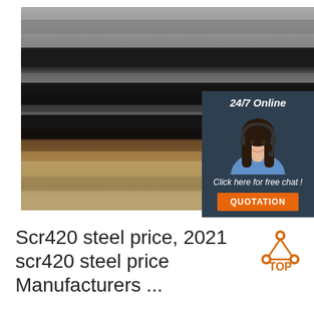[Figure (photo): Photo of stacked steel plates/sheets with dark metallic surface and rust-colored edges, stacked horizontally. Overlaid with a customer service panel showing '24/7 Online', a woman with a headset, 'Click here for free chat!' text, and a QUOTATION button.]
Scr420 steel price, 2021 scr420 steel price Manufacturers ...